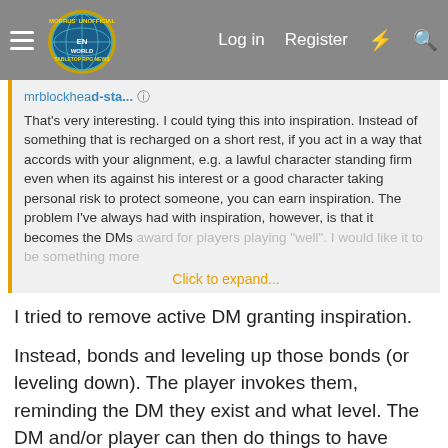Morrus' Unofficial Tabletop RPG News — Log in | Register
That's very interesting. I could tying this into inspiration. Instead of something that is recharged on a short rest, if you act in a way that accords with your alignment, e.g. a lawful character standing firm even when its against his interest or a good character taking personal risk to protect someone, you can earn inspiration. The problem I've always had with inspiration, however, is that it becomes the DMs award for players playing "well". I would like it to be something more
Click to expand...
I tried to remove active DM granting inspiration.
Instead, bonds and leveling up those bonds (or leveling down). The player invokes them, reminding the DM they exist and what level. The DM and/or player can then do things to have opportunities to level up/down a bond. Ie the DM could say "you haven't protected the poor in a while; that bond loses a level".